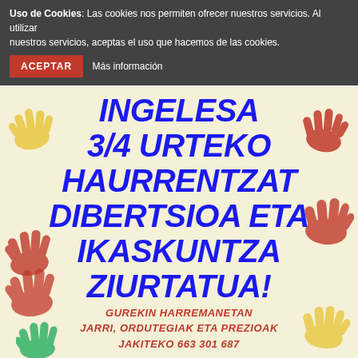Uso de Cookies: Las cookies nos permiten ofrecer nuestros servicios. Al utilizar nuestros servicios, aceptas el uso que hacemos de las cookies. ACEPTAR  Más información
[Figure (illustration): Colorful educational poster with handprints (yellow, red, green) on a cream background with large blue italic bold text in Basque language advertising English classes for 3/4 year old children, with contact information at the bottom in red.]
INGELESA 3/4 URTEKO HAURRENTZAT DIBERTSIOA ETA IKASKUNTZA ZIURTATUA!
GUREKIN HARREMANETAN JARRI, ORDUTEGIAK ETA PREZIOAK JAKITEKO 663 301 687